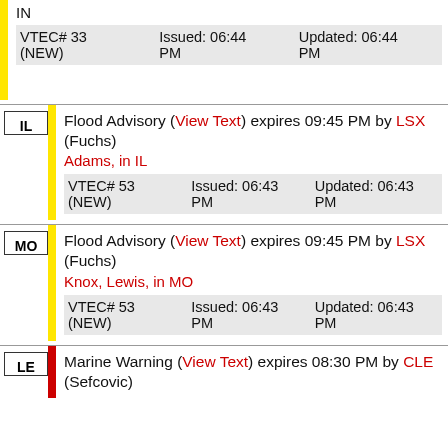IN
VTEC# 33 (NEW)   Issued: 06:44 PM   Updated: 06:44 PM
IL  Flood Advisory (View Text) expires 09:45 PM by LSX (Fuchs)
Adams, in IL
VTEC# 53 (NEW)   Issued: 06:43 PM   Updated: 06:43 PM
MO  Flood Advisory (View Text) expires 09:45 PM by LSX (Fuchs)
Knox, Lewis, in MO
VTEC# 53 (NEW)   Issued: 06:43 PM   Updated: 06:43 PM
LE  Marine Warning (View Text) expires 08:30 PM by CLE (Sefcovic)